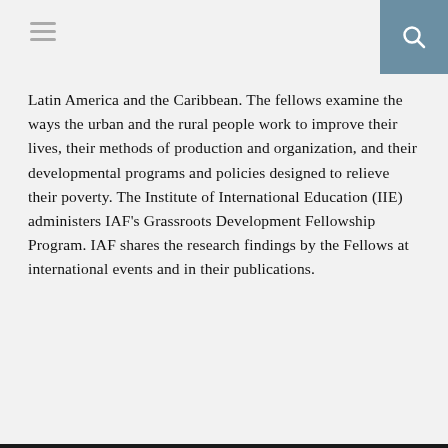[hamburger menu icon] [search icon]
Latin America and the Caribbean. The fellows examine the ways the urban and the rural people work to improve their lives, their methods of production and organization, and their developmental programs and policies designed to relieve their poverty. The Institute of International Education (IIE) administers IAF's Grassroots Development Fellowship Program. IAF shares the research findings by the Fellows at international events and in their publications.
ADVERTISEMENT
04. Grants for Hispanic Women